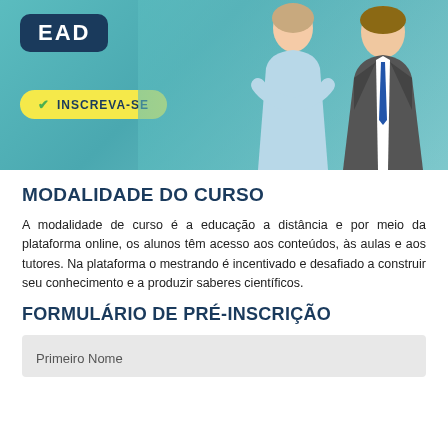[Figure (photo): Banner with teal background showing two professionals (a woman in light blue shirt and a man in suit). On the upper left is a dark blue EAD bubble logo and a yellow button with 'INSCREVA-SE'.]
MODALIDADE DO CURSO
A modalidade de curso é a educação a distância e por meio da plataforma online, os alunos têm acesso aos conteúdos, às aulas e aos tutores. Na plataforma o mestrando é incentivado e desafiado a construir seu conhecimento e a produzir saberes científicos.
FORMULÁRIO DE PRÉ-INSCRIÇÃO
| Primeiro Nome |
| --- |